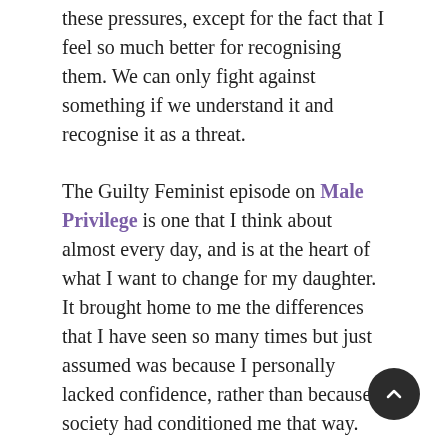these pressures, except for the fact that I feel so much better for recognising them. We can only fight against something if we understand it and recognise it as a threat.
The Guilty Feminist episode on Male Privilege is one that I think about almost every day, and is at the heart of what I want to change for my daughter. It brought home to me the differences that I have seen so many times but just assumed was because I personally lacked confidence, rather than because society had conditioned me that way.
As an example, I am not comfortable in interviews. I'm not good at talking myself up and really pushing why I'm the best candidate because I'm never 10 certain that I am. I'm good enough to apply,